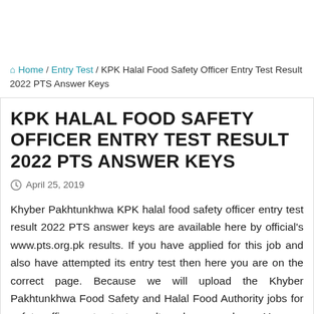Home / Entry Test / KPK Halal Food Safety Officer Entry Test Result 2022 PTS Answer Keys
KPK HALAL FOOD SAFETY OFFICER ENTRY TEST RESULT 2022 PTS ANSWER KEYS
April 25, 2019
Khyber Pakhtunkhwa KPK halal food safety officer entry test result 2022 PTS answer keys are available here by official's www.pts.org.pk results. If you have applied for this job and also have attempted its entry test then here you are on the correct page. Because we will upload the Khyber Pakhtunkhwa Food Safety and Halal Food Authority jobs for safety officer entry test result and answer keys. You are hereby informed that as per the